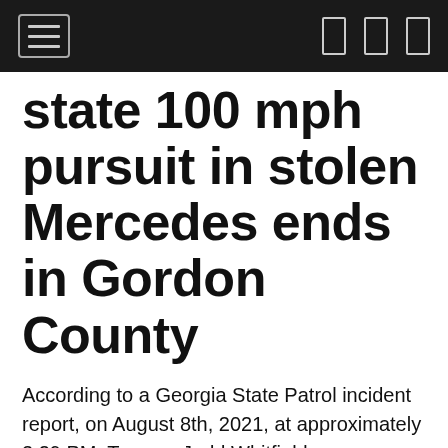[Navigation bar with hamburger menu and icons]
state 100 mph pursuit in stolen Mercedes ends in Gordon County
According to a Georgia State Patrol incident report, on August 8th, 2021, at approximately 3:29 PM, Trooper Judd Whitfield was stationary at the weigh station located on Interstate 75 southbound near mile marker 343. Trooper Whitfield was advised by Catoosa County dispatch that Tennessee Highway Patrol was in pursuit of a stolen 2021 Blue Mercedes G Wagon with a Michigan License plate on Interstate 75 near the Tennessee / Georgia State Line. Catoosa County Deputy LaMountain then advised that he